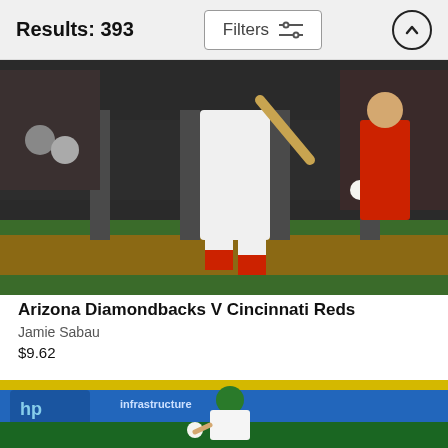Results: 393
Filters
[Figure (photo): Baseball player batting - Arizona Diamondbacks V Cincinnati Reds game photo by Jamie Sabau]
Arizona Diamondbacks V Cincinnati Reds
Jamie Sabau
$9.62
[Figure (photo): Baseball player in green hat fielding a ball - Cincinnati Reds game photo]